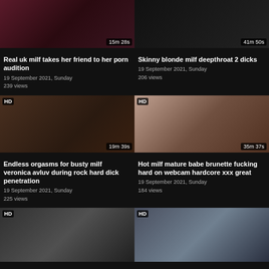[Figure (screenshot): Video thumbnail - Real uk milf takes her friend to her porn audition, duration 15m 28s]
[Figure (screenshot): Video thumbnail - Skinny blonde milf deepthroat 2 dicks, duration 41m 50s]
Real uk milf takes her friend to her porn audition
19 September 2021, Sunday
239 views
Skinny blonde milf deepthroat 2 dicks
19 September 2021, Sunday
206 views
[Figure (screenshot): Video thumbnail HD - Endless orgasms for busty milf veronica avluv during rock hard dick penetration, duration 19m 39s]
[Figure (screenshot): Video thumbnail HD - Hot milf mature babe brunette fucking hard on webcam hardcore xxx great, duration 35m 37s]
Endless orgasms for busty milf veronica avluv during rock hard dick penetration
19 September 2021, Sunday
225 views
Hot milf mature babe brunette fucking hard on webcam hardcore xxx great
19 September 2021, Sunday
184 views
[Figure (screenshot): Video thumbnail HD - partial view, bottom row left]
[Figure (screenshot): Video thumbnail HD - partial view, bottom row right]